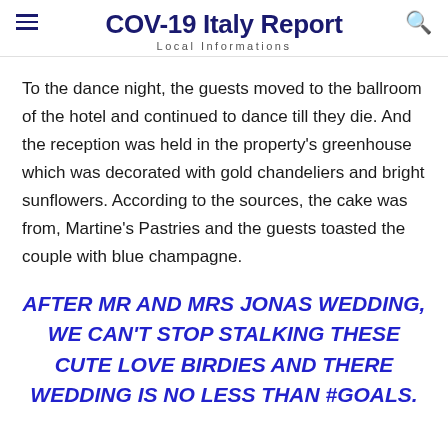COV-19 Italy Report
Local Informations
To the dance night, the guests moved to the ballroom of the hotel and continued to dance till they die. And the reception was held in the property's greenhouse which was decorated with gold chandeliers and bright sunflowers. According to the sources, the cake was from, Martine's Pastries and the guests toasted the couple with blue champagne.
AFTER MR AND MRS JONAS WEDDING, WE CAN'T STOP STALKING THESE CUTE LOVE BIRDIES AND THERE WEDDING IS NO LESS THAN #GOALS.